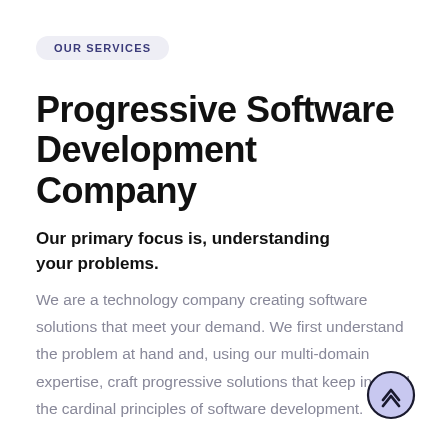OUR SERVICES
Progressive Software Development Company
Our primary focus is, understanding your problems.
We are a technology company creating software solutions that meet your demand. We first understand the problem at hand and, using our multi-domain expertise, craft progressive solutions that keep in mind the cardinal principles of software development.
[Figure (illustration): A circular scroll-to-top button with upward chevron arrows, dark outline circle with light purple/lavender fill and dark chevrons inside.]